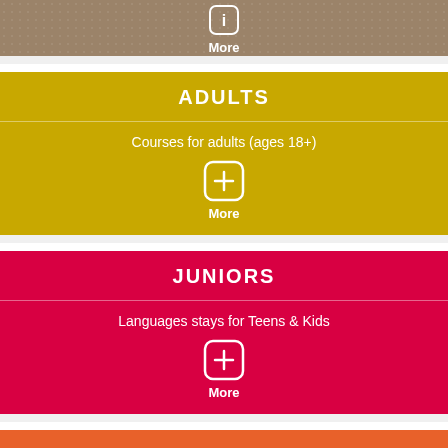[Figure (infographic): Top partial brown/tan textured section with a rounded-square info icon and 'More' label in white]
ADULTS
Courses for adults (ages 18+)
More
JUNIORS
Languages stays for Teens & Kids
More
PROGRAMS FOR TEACHERS